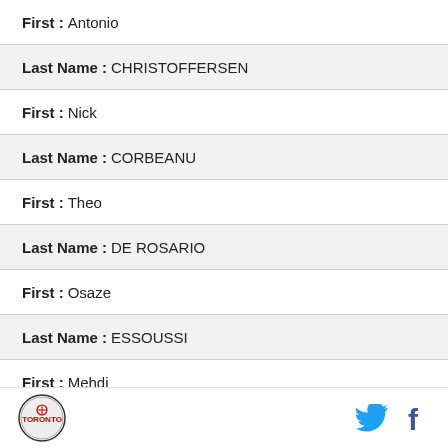First : Antonio
Last Name : CHRISTOFFERSEN
First : Nick
Last Name : CORBEANU
First : Theo
Last Name : DE ROSARIO
First : Osaze
Last Name : ESSOUSSI
First : Mehdi
Last Name : GEORGE
First : Javier
Logo | Twitter | Facebook